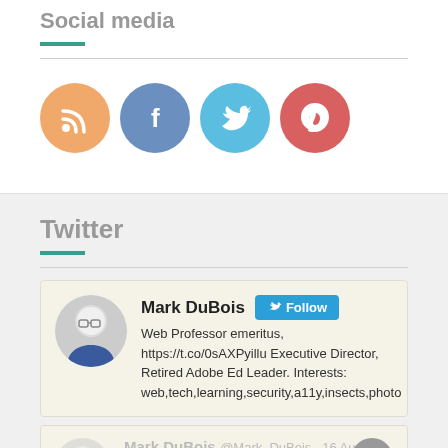Social media
[Figure (illustration): Four social media icons in circles: RSS (orange), Facebook (steel blue), Twitter (light blue), Pinterest (pink-red)]
Twitter
Mark DubBois Follow — Web Professor emeritus, https://t.co/0sAXPyillu Executive Director, Retired Adobe Ed Leader. Interests: web,tech,learning,security,a11y,insects,photo
Mark DuBois @Mark_DuBois · 16 Aug — Crescent Knoll Overlook at Shaw Nature Reserve near St. Louis. Nice Saturday